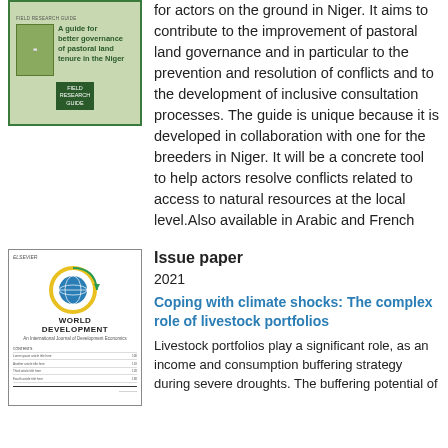[Figure (illustration): Book cover: green bordered cover with title 'A guide for better governance of pastoral land tenure in the Niger']
for actors on the ground in Niger. It aims to contribute to the improvement of pastoral land governance and in particular to the prevention and resolution of conflicts and to the development of inclusive consultation processes. The guide is unique because it is developed in collaboration with one for the breeders in Niger. It will be a concrete tool to help actors resolve conflicts related to access to natural resources at the local level.Also available in Arabic and French
Issue paper
2021
[Figure (illustration): Journal cover: World Development journal with globe logo]
Coping with climate shocks: The complex role of livestock portfolios
Livestock portfolios play a significant role, as an income and consumption buffering strategy during severe droughts. The buffering potential of